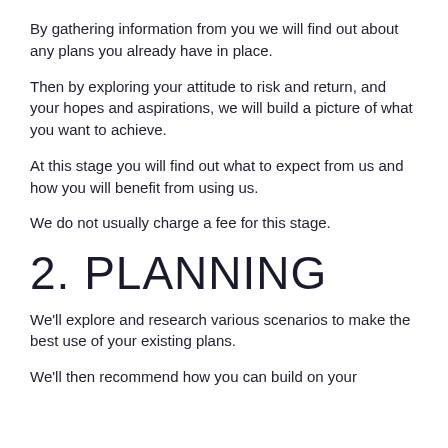By gathering information from you we will find out about any plans you already have in place.
Then by exploring your attitude to risk and return, and your hopes and aspirations, we will build a picture of what you want to achieve.
At this stage you will find out what to expect from us and how you will benefit from using us.
We do not usually charge a fee for this stage.
2. PLANNING
We'll explore and research various scenarios to make the best use of your existing plans.
We'll then recommend how you can build on your